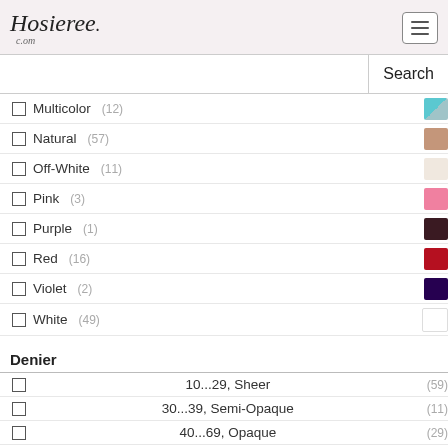Hosieree.com
Multicolor (12)
Natural (57)
Off-White (11)
Pink (3)
Purple (1)
Red (16)
Violet (2)
White (49)
Denier
10...29, Sheer (59)
30...39, Semi-Opaque (11)
40...69, Opaque (29)
70+, Thick Opaque (15)
Feature
Seamless Tights (28)
Back Panel (155)
Boxer Brief Top (92)